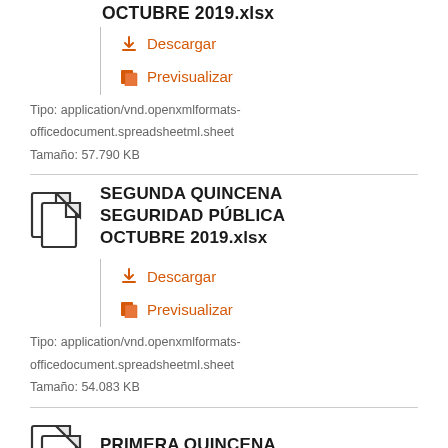OCTUBRE 2019.xlsx
Descargar
Previsualizar
Tipo: application/vnd.openxmlformats-officedocument.spreadsheetml.sheet
Tamaño: 57.790 KB
SEGUNDA QUINCENA SEGURIDAD PÚBLICA OCTUBRE 2019.xlsx
Descargar
Previsualizar
Tipo: application/vnd.openxmlformats-officedocument.spreadsheetml.sheet
Tamaño: 54.083 KB
PRIMERA QUINCENA